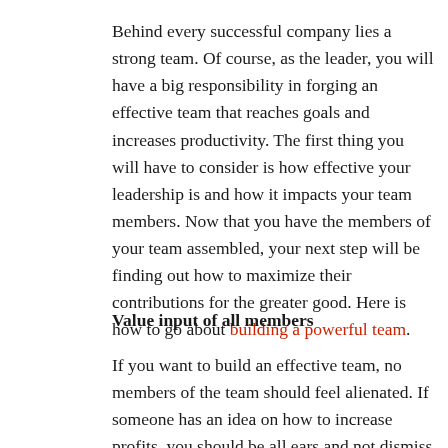Behind every successful company lies a strong team. Of course, as the leader, you will have a big responsibility in forging an effective team that reaches goals and increases productivity. The first thing you will have to consider is how effective your leadership is and how it impacts your team members. Now that you have the members of your team assembled, your next step will be finding out how to maximize their contributions for the greater good. Here is how to go about building a powerful team.
Value input of all members
If you want to build an effective team, no members of the team should feel alienated. If someone has an idea on how to increase profits, you should be all ears and not dismiss them. The best way to think about it is to ask not if the idea is crazy, but rather, if